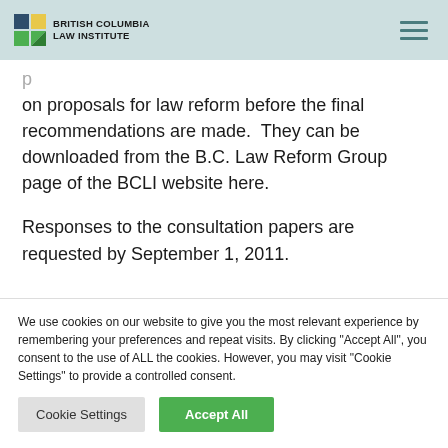British Columbia Law Institute
on proposals for law reform before the final recommendations are made.  They can be downloaded from the B.C. Law Reform Group page of the BCLI website here.
Responses to the consultation papers are requested by September 1, 2011.
We use cookies on our website to give you the most relevant experience by remembering your preferences and repeat visits. By clicking "Accept All", you consent to the use of ALL the cookies. However, you may visit "Cookie Settings" to provide a controlled consent.